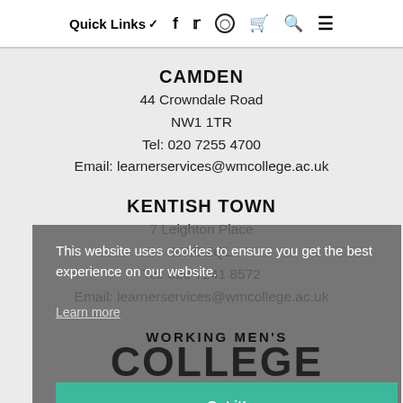Quick Links ∨  f  🐦  ○  🛒  🔍  ≡
CAMDEN
44 Crowndale Road
NW1 1TR
Tel: 020 7255 4700
Email: learnerservices@wmcollege.ac.uk
KENTISH TOWN
7 Leighton Place
NW5 2QL
Tel: 020 7241 8572
Email: learnerservices@wmcollege.ac.uk
This website uses cookies to ensure you get the best experience on our website.
Learn more
[Figure (logo): Working Men's College logo with text WORKING MEN'S COLLEGE EST. 1854 and Got it! button]